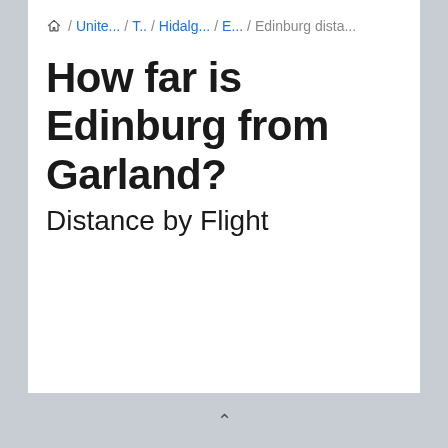🏠 / Unite... / T.. / Hidalg... / E... / Edinburg dista...
How far is Edinburg from Garland?
Distance by Flight